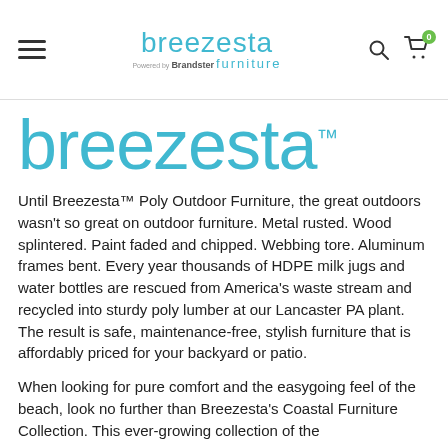breezesta furniture (powered by Brandster) — navigation header with hamburger menu, search icon, and cart icon (0 items)
breezesta™
Until Breezesta™ Poly Outdoor Furniture, the great outdoors wasn't so great on outdoor furniture. Metal rusted. Wood splintered. Paint faded and chipped. Webbing tore. Aluminum frames bent. Every year thousands of HDPE milk jugs and water bottles are rescued from America's waste stream and recycled into sturdy poly lumber at our Lancaster PA plant. The result is safe, maintenance-free, stylish furniture that is affordably priced for your backyard or patio.
When looking for pure comfort and the easygoing feel of the beach, look no further than Breezesta's Coastal Furniture Collection. This ever-growing collection of the